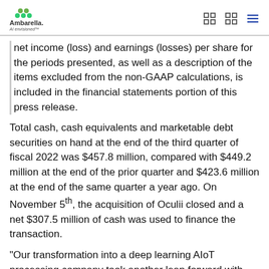Ambarella — AI Envisioned
net income (loss) and earnings (losses) per share for the periods presented, as well as a description of the items excluded from the non-GAAP calculations, is included in the financial statements portion of this press release.
Total cash, cash equivalents and marketable debt securities on hand at the end of the third quarter of fiscal 2022 was $457.8 million, compared with $449.2 million at the end of the prior quarter and $423.6 million at the end of the same quarter a year ago. On November 5th, the acquisition of Oculii closed and a net $307.5 million of cash was used to finance the transaction.
“Our transformation into a deep learning AIoT processing company took another leap forward with the acquisition of Oculii, a provider of advanced algorithms for high definition imaging radars. The radar perception market is incremental, but most importantly this